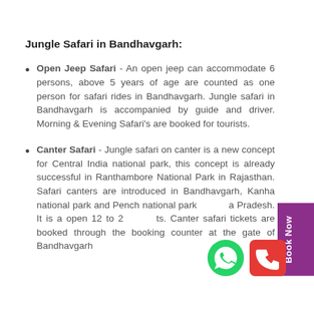Jungle Safari in Bandhavgarh:
Open Jeep Safari - An open jeep can accommodate 6 persons, above 5 years of age are counted as one person for safari rides in Bandhavgarh. Jungle safari in Bandhavgarh is accompanied by guide and driver. Morning & Evening Safari's are booked for tourists.
Canter Safari - Jungle safari on canter is a new concept for Central India national park, this concept is already successful in Ranthambore National Park in Rajasthan. Safari canters are introduced in Bandhavgarh, Kanha national park and Pench national park Madhya Pradesh. It is a open 12 to 24 seats. Canter safari tickets are booked through the booking counter at the gate of Bandhavgarh